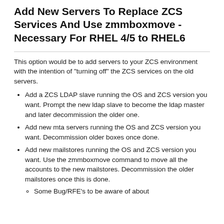Add New Servers To Replace ZCS Services And Use zmmboxmove - Necessary For RHEL 4/5 to RHEL6
This option would be to add servers to your ZCS environment with the intention of "turning off" the ZCS services on the old servers.
Add a ZCS LDAP slave running the OS and ZCS version you want. Prompt the new ldap slave to become the ldap master and later decommission the older one.
Add new mta servers running the OS and ZCS version you want. Decommission older boxes once done.
Add new mailstores running the OS and ZCS version you want. Use the zmmboxmove command to move all the accounts to the new mailstores. Decommission the older mailstores once this is done.
Some Bug/RFE's to be aware of about